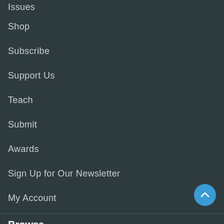Issues
Shop
Subscribe
Support Us
Teach
Submit
Awards
Sign Up for Our Newsletter
My Account
Browse